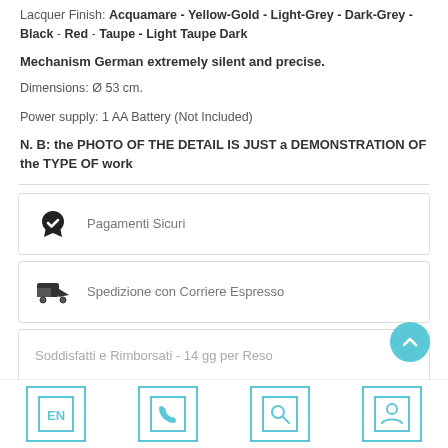Lacquer Finish: Acquamare - Yellow-Gold - Light-Grey - Dark-Grey - Black - Red - Taupe - Light Taupe Dark
Mechanism German extremely silent and precise.
Dimensions: Ø 53 cm.
Power supply: 1 AA Battery (Not Included)
N. B: the PHOTO OF THE DETAIL IS JUST a DEMONSTRATION OF the TYPE OF work
Pagamenti Sicuri
Spedizione con Corriere Espresso
Soddisfatti e Rimborsati - 14 gg per Reso